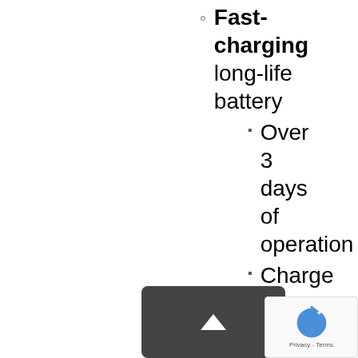Fast-charging long-life battery
Over 3 days of operation
Charge in under 2 hours
Lightweight but